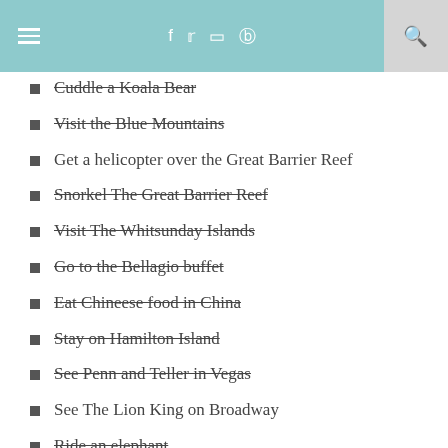Navigation header with hamburger menu, social icons (f, twitter, instagram, pinterest), and search
Cuddle a Koala Bear (strikethrough)
Visit the Blue Mountains (strikethrough)
Get a helicopter over the Great Barrier Reef
Snorkel The Great Barrier Reef (strikethrough)
Visit The Whitsunday Islands (strikethrough)
Go to the Bellagio buffet (strikethrough)
Eat Chineese food in China (strikethrough)
Stay on Hamilton Island (strikethrough)
See Penn and Teller in Vegas (strikethrough)
See The Lion King on Broadway
Ride an elephant (strikethrough)
Learn to Surf in Australia (strikethrough)
Visit Thailand's Islands